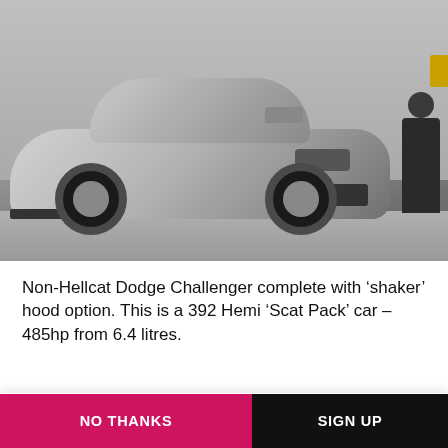[Figure (photo): Silver/grey Dodge Challenger muscle car, front three-quarter view, displayed at what appears to be an auto show. The car has a shaker hood scoop and large black alloy wheels. A person in dark clothing stands in the background at right. The floor is light grey.]
Non-Hellcat Dodge Challenger complete with ‘shaker’ hood option. This is a 392 Hemi ‘Scat Pack’ car – 485hp from 6.4 litres.
CAR magazine notifications
Sign up for all the latest breaking news, new-car alerts and the best electric buying advice
NO THANKS
SIGN UP